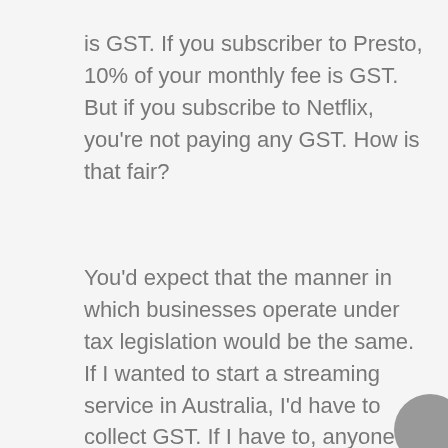is GST. If you subscriber to Presto, 10% of your monthly fee is GST. But if you subscribe to Netflix, you're not paying any GST. How is that fair?
You'd expect that the manner in which businesses operate under tax legislation would be the same. If I wanted to start a streaming service in Australia, I'd have to collect GST. If I have to, anyone I'm competing with locally should have to too.
It's concerning to hear that Netflix isn't collecting GST, as that gives it an unfair advantage. Stan, Presto and Quickflix are